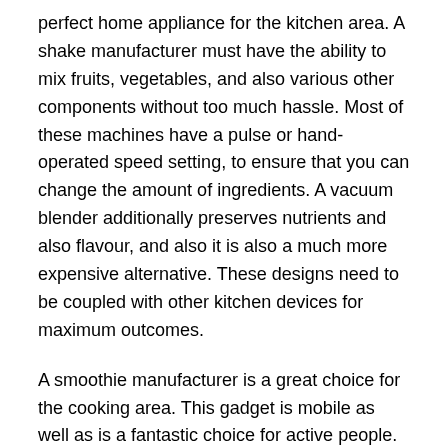perfect home appliance for the kitchen area. A shake manufacturer must have the ability to mix fruits, vegetables, and also various other components without too much hassle. Most of these machines have a pulse or hand-operated speed setting, to ensure that you can change the amount of ingredients. A vacuum blender additionally preserves nutrients and also flavour, and also it is also a much more expensive alternative. These designs need to be coupled with other kitchen devices for maximum outcomes.
A smoothie manufacturer is a great choice for the cooking area. This gadget is mobile as well as is a fantastic choice for active people. You can take it with you on the move if you wish to take it to function. A blender that has several settings serves for blending large amounts of fruit and vegetables. A smoothie manufacturer that can do both is a good selection for